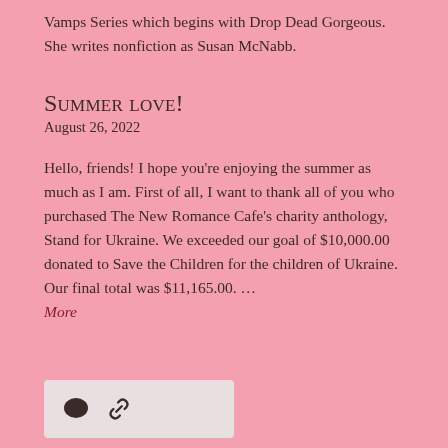Vamps Series which begins with Drop Dead Gorgeous. She writes nonfiction as Susan McNabb.
Summer love!
August 26, 2022
Hello, friends! I hope you're enjoying the summer as much as I am. First of all, I want to thank all of you who purchased The New Romance Cafe's charity anthology, Stand for Ukraine. We exceeded our goal of $10,000.00 donated to Save the Children for the children of Ukraine. Our final total was $11,165.00. … More
[Figure (other): Social media icons: comment bubble and link/share icon in a light-colored rounded rectangle box]